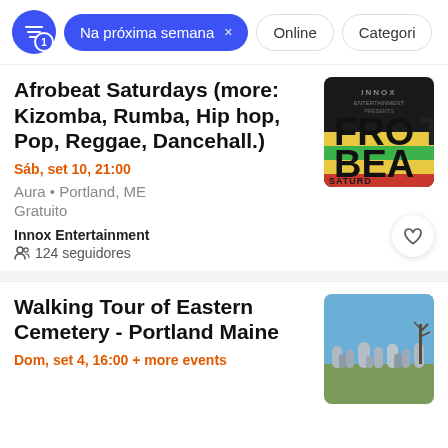Na próxima semana × | Online | Categori
Afrobeat Saturdays (more: Kizomba, Rumba, Hip hop, Pop, Reggae, Dancehall.)
Sáb, set 10, 21:00
Aura • Portland, ME
Gratuito
Innox Entertainment
124 seguidores
Walking Tour of Eastern Cemetery - Portland Maine
Dom, set 4, 16:00 + more events